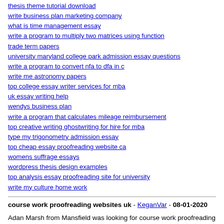thesis theme tutorial download
write business plan marketing company
what is time management essay
write a program to multiply two matrices using function
trade term papers
university maryland college park admission essay questions
write a program to convert nfa to dfa in c
write me astronomy papers
top college essay writer services for mba
uk essay writing help
wendys business plan
write a program that calculates mileage reimbursement
top creative writing ghostwriting for hire for mba
type my trigonometry admission essay
top cheap essay proofreading website ca
womens suffrage essays
wordpress thesis design examples
top analysis essay proofreading site for university
write my culture home work
course work proofreading websites uk - KeganVar - 08-01-2020
Adan Marsh from Mansfield was looking for course work proofreading websites uk
Justen Reynolds found the answer to a search query course work proofreading websites uk